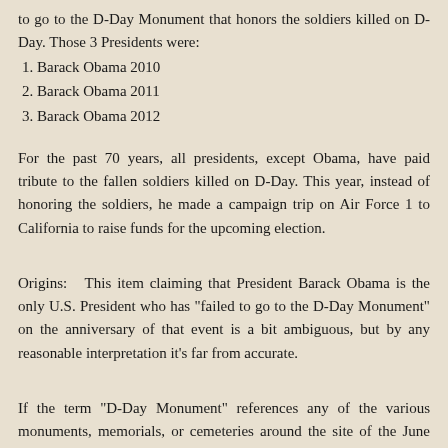to go to the D-Day Monument that honors the soldiers killed on D-Day. Those 3 Presidents were:
1. Barack Obama 2010
2. Barack Obama 2011
3. Barack Obama 2012
For the past 70 years, all presidents, except Obama, have paid tribute to the fallen soldiers killed on D-Day. This year, instead of honoring the soldiers, he made a campaign trip on Air Force 1 to California to raise funds for the upcoming election.
Origins:   This item claiming that President Barack Obama is the only U.S. President who has "failed to go to the D-Day Monument" on the anniversary of that event is a bit ambiguous, but by any reasonable interpretation it's far from accurate.
If the term "D-Day Monument" references any of the various monuments, memorials, or cemeteries around the site of the June 1944 Allied landing on the Normandy coast of France...